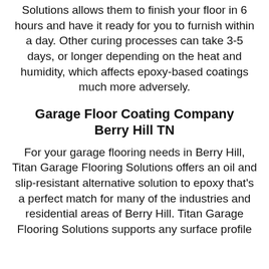This patented process at Titan Garage Flooring Solutions allows them to finish your floor in 6 hours and have it ready for you to furnish within a day. Other curing processes can take 3-5 days, or longer depending on the heat and humidity, which affects epoxy-based coatings much more adversely.
Garage Floor Coating Company Berry Hill TN
For your garage flooring needs in Berry Hill, Titan Garage Flooring Solutions offers an oil and slip-resistant alternative solution to epoxy that's a perfect match for many of the industries and residential areas of Berry Hill. Titan Garage Flooring Solutions supports any surface profile